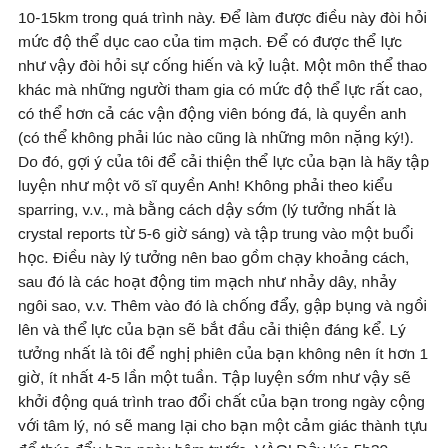10-15km trong quá trình này. Để làm được điều này đòi hỏi mức độ thể dục cao của tim mạch. Để có được thể lực như vậy đòi hỏi sự cống hiến và kỷ luật. Một môn thể thao khác mà những người tham gia có mức độ thể lực rất cao, có thể hơn cả các vận động viên bóng đá, là quyền anh (có thể không phải lúc nào cũng là những môn nặng ký!). Do đó, gợi ý của tôi để cải thiện thể lực của bạn là hãy tập luyện như một võ sĩ quyền Anh! Không phải theo kiểu sparring, v.v., mà bằng cách dậy sớm (lý tưởng nhất là crystal reports từ 5-6 giờ sáng) và tập trung vào một buổi học. Điều này lý tưởng nên bao gồm chạy khoảng cách, sau đó là các hoạt động tim mạch như nhảy dây, nhảy ngôi sao, v.v. Thêm vào đó là chống đẩy, gập bụng và ngồi lên và thể lực của bạn sẽ bắt đầu cải thiện đáng kể. Lý tưởng nhất là tôi để nghị phiên của bạn không nên ít hơn 1 giờ, ít nhất 4-5 lần một tuần. Tập luyện sớm như vậy sẽ khởi động quá trình trao đổi chất của bạn trong ngày cộng với tâm lý, nó sẽ mang lại cho bạn một cảm giác thành tựu để thúc đẩy bạn ngày hôm trước. VÀO! Dậy lúc 5h30 sáng, 5 lần một tuần và hoàn thành quãng đường chạy 4-5Km, sau đó là chống đẩy 5 x